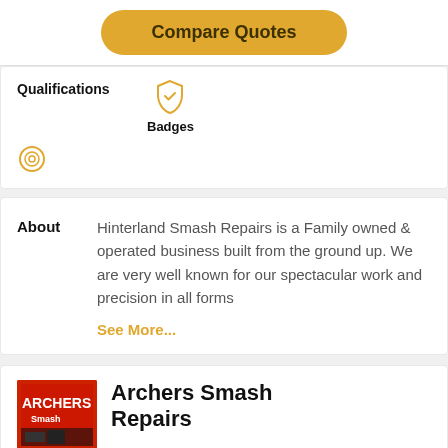[Figure (other): Golden/amber 'Compare Quotes' button with rounded pill shape]
Qualifications
[Figure (other): Gold shield icon with checkmark]
Badges
[Figure (other): Gold circle/target icon]
About
Hinterland Smash Repairs is a Family owned & operated business built from the ground up. We are very well known for our spectacular work and precision in all forms
See More...
[Figure (photo): Archers Smash Repairs logo/storefront photo with red background and white text]
Archers Smash Repairs